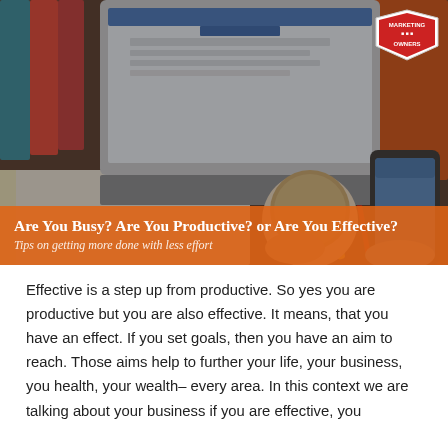[Figure (photo): Hero image showing a laptop, coffee cup, smartphone, binders, and notebook on a desk viewed from above, with an orange banner overlay showing the article title and subtitle, and a Marketing Owners logo badge in the top-right corner.]
Are You Busy? Are You Productive? or Are You Effective?
Tips on getting more done with less effort
Effective is a step up from productive. So yes you are productive but you are also effective. It means, that you have an effect. If you set goals, then you have an aim to reach. Those aims help to further your life, your business, you health, your wealth– every area. In this context we are talking about your business if you are effective, you